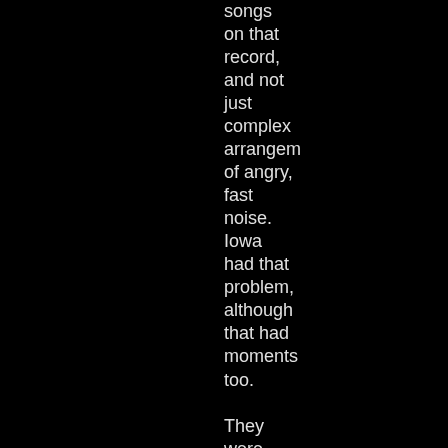songs on that record, and not just complex arrangements of angry, fast noise. Iowa had that problem, although that had moments too.

They were decent at Big Day Out